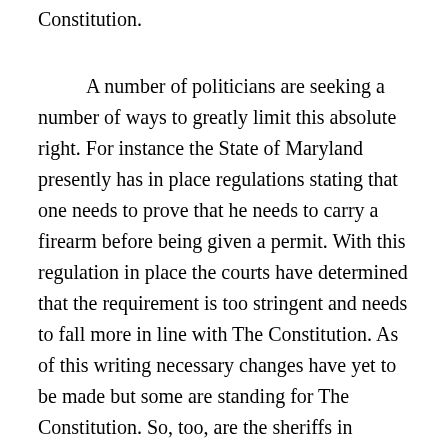Constitution.
A number of politicians are seeking a number of ways to greatly limit this absolute right. For instance the State of Maryland presently has in place regulations stating that one needs to prove that he needs to carry a firearm before being given a permit. With this regulation in place the courts have determined that the requirement is too stringent and needs to fall more in line with The Constitution. As of this writing necessary changes have yet to be made but some are standing for The Constitution. So, too, are the sheriffs in Nevada. They refuse to give in to the political overtures of those that seek only to strengthen their own hands of power rather they stand firmly for The Constitution. The report